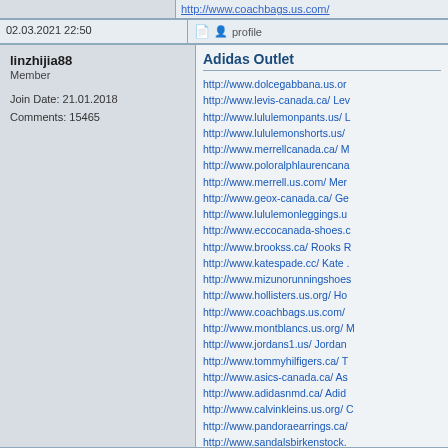http://www.coachbags.us.com/
02.03.2021 22:50 | profile
linzhijia88
Member

Join Date: 21.01.2018
Comments: 15465
Adidas Outlet
http://www.dolcegabbana.us.or...
http://www.levis-canada.ca/ Lev...
http://www.lululemonpants.us/ L...
http://www.lululemonshorts.us/...
http://www.merrellcanada.ca/ M...
http://www.poloralphlaurencana...
http://www.merrell.us.com/ Mer...
http://www.geox-canada.ca/ Ge...
http://www.lululemonleggings.u...
http://www.eccocanada-shoes.c...
http://www.brookss.ca/ Rooks R...
http://www.katespade.cc/ Kate ...
http://www.mizunorunningshoes...
http://www.hollisters.us.org/ Ho...
http://www.coachbags.us.com/...
http://www.montblancs.us.org/ ...
http://www.jordans1.us/ Jordan...
http://www.tommyhilfigers.ca/ T...
http://www.asics-canada.ca/ As...
http://www.adidasnmd.ca/ Adid...
http://www.calvinkleins.us.org/ ...
http://www.pandoraearrings.ca/...
http://www.sandalsbirkenstock....
http://www.michaelkorsoutletfac...
http://www.champions.us.org/ C...
http://www.lululemonoutletcana...
http://www.christianlouboutinsh...
http://www.shoeschristianloubo...
http://www.longchamps.ca/ Lon...
http://www.adidasyeezycanada...
http://www.fredperryshoes.us/ F...